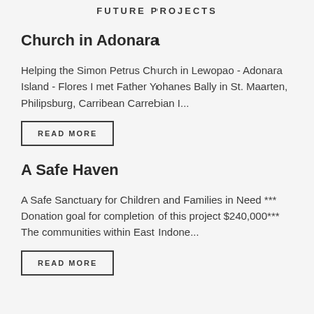FUTURE PROJECTS
Church in Adonara
Helping the Simon Petrus Church in Lewopao - Adonara Island - Flores I met Father Yohanes Bally in St. Maarten, Philipsburg, Carribean Carrebian I...
READ MORE
A Safe Haven
A Safe Sanctuary for Children and Families in Need *** Donation goal for completion of this project $240,000*** The communities within East Indone...
READ MORE